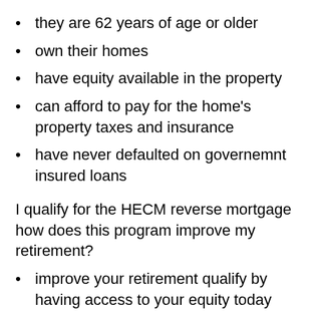they are 62 years of age or older
own their homes
have equity available in the property
can afford to pay for the home's property taxes and insurance
have never defaulted on governemnt insured loans
I qualify for the HECM reverse mortgage how does this program improve my retirement?
improve your retirement qualify by having access to your equity today
no more mortgage payments while you